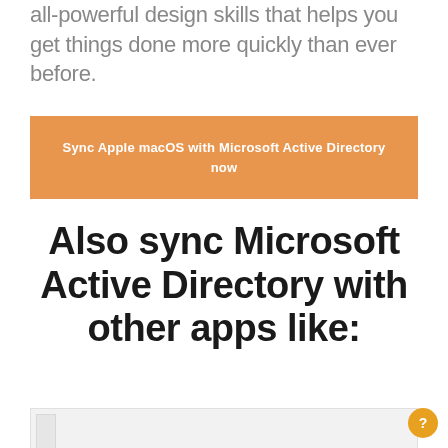all-powerful design skills that helps you get things done more quickly than ever before.
Sync Apple macOS with Microsoft Active Directory now
Also sync Microsoft Active Directory with other apps like: